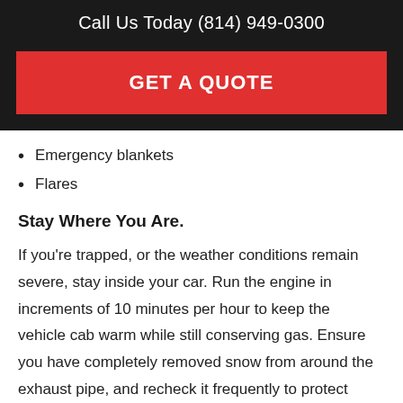Call Us Today (814) 949-0300
GET A QUOTE
Emergency blankets
Flares
Stay Where You Are.
If you're trapped, or the weather conditions remain severe, stay inside your car. Run the engine in increments of 10 minutes per hour to keep the vehicle cab warm while still conserving gas. Ensure you have completely removed snow from around the exhaust pipe, and recheck it frequently to protect against the risk of carbon monoxide poisoning.